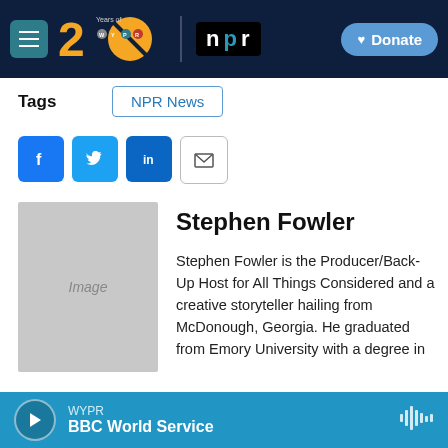[Figure (screenshot): WYPR 20 Years logo and NPR badge in dark navy header with Donate button]
Tags
NPR News
[Figure (infographic): Social sharing buttons: Facebook, Twitter, LinkedIn, Email]
[Figure (photo): Placeholder image for Stephen Fowler]
Stephen Fowler
Stephen Fowler is the Producer/Back-Up Host for All Things Considered and a creative storyteller hailing from McDonough, Georgia. He graduated from Emory University with a degree in
WYPR BBC World Service